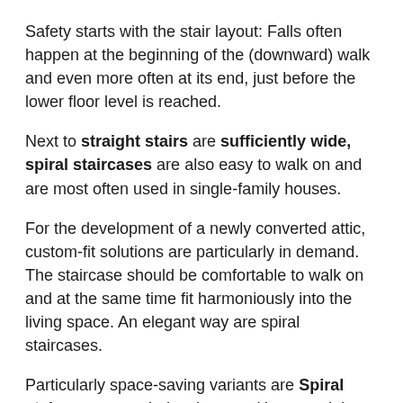Safety starts with the stair layout: Falls often happen at the beginning of the (downward) walk and even more often at its end, just before the lower floor level is reached.
Next to straight stairs are sufficiently wide, spiral staircases are also easy to walk on and are most often used in single-family houses.
For the development of a newly converted attic, custom-fit solutions are particularly in demand. The staircase should be comfortable to walk on and at the same time fit harmoniously into the living space. An elegant way are spiral staircases.
Particularly space-saving variants are Spiral staircases or. spiral staircases: However, it is precisely these that are the most difficult to climb due to the extremely narrow tapered stair treads towards the stair eye. Under no circumstances should spiral and spiral staircases be planned too narrowly. In addition, you should ensure that the steps are evenly spaced to avoid tripping hazards.